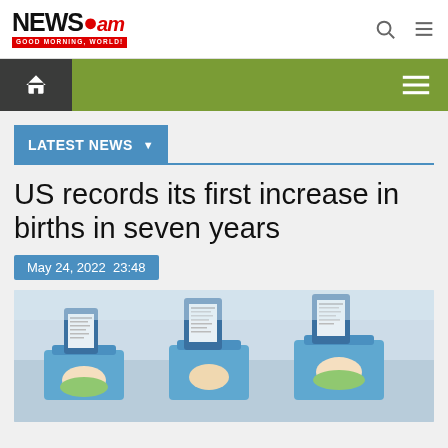NEWS.am — GOOD MORNING, WORLD!
LATEST NEWS
US records its first increase in births in seven years
May 24, 2022  23:48
[Figure (photo): Hospital nursery scene with newborn babies in cribs and clipboard charts, in a maternity ward.]